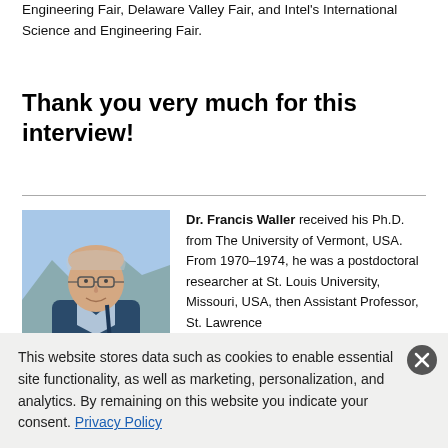Engineering Fair, Delaware Valley Fair, and Intel's International Science and Engineering Fair.
Thank you very much for this interview!
[Figure (photo): Photograph of Dr. Francis Waller, an older man with glasses wearing a blue jacket outdoors with mountains in the background.]
Dr. Francis Waller received his Ph.D. from The University of Vermont, USA. From 1970–1974, he was a postdoctoral researcher at St. Louis University, Missouri, USA, then Assistant Professor, St. Lawrence
This website stores data such as cookies to enable essential site functionality, as well as marketing, personalization, and analytics. By remaining on this website you indicate your consent. Privacy Policy